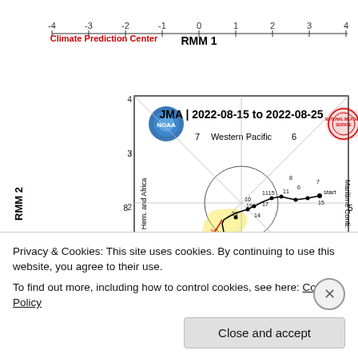[Figure (continuous-plot): MJO RMM phase space diagram. Title: JMA | 2022-08-15 to 2022-08-25. X-axis: RMM1 (-4 to 4), Y-axis: RMM2 (-4 to 4). Eight phase regions labeled Western Pacific (top), Maritime Continent (right), etc. A trajectory is plotted starting near phase 6 (labeled 'start'), traversing through phases 5, 6, 7, then looping through center region, with red and orange portions indicating recent dates (19, 23 visible). NOAA and NWS logos shown. Background shows faint yellow ensemble traces.]
Privacy & Cookies: This site uses cookies. By continuing to use this website, you agree to their use.
To find out more, including how to control cookies, see here: Cookie Policy
Close and accept